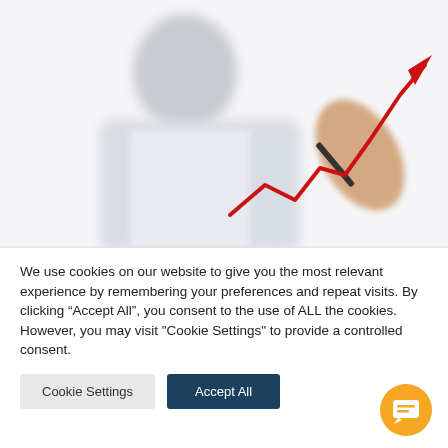[Figure (photo): Blurred business person in white shirt and tie drawing an upward trending red line chart with an arrow pointing up-right, using a pen on a transparent surface.]
We use cookies on our website to give you the most relevant experience by remembering your preferences and repeat visits. By clicking “Accept All”, you consent to the use of ALL the cookies. However, you may visit "Cookie Settings" to provide a controlled consent.